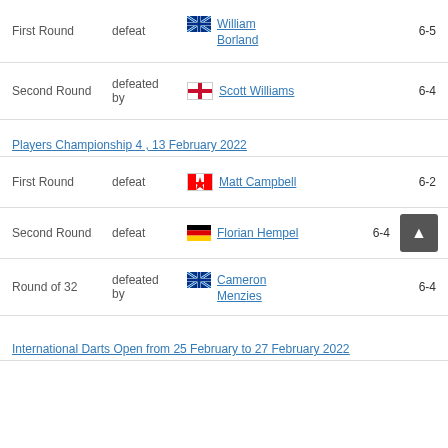First Round | defeat | William Borland (Scotland) | 6-5
Second Round | defeated by | Scott Williams (England) | 6-4
Players Championship 4 , 13 February 2022
First Round | defeat | Matt Campbell (Canada) | 6-2
Second Round | defeat | Florian Hempel (Germany) | 6-4
Round of 32 | defeated by | Cameron Menzies (Scotland) | 6-4
International Darts Open from 25 February to 27 February 2022